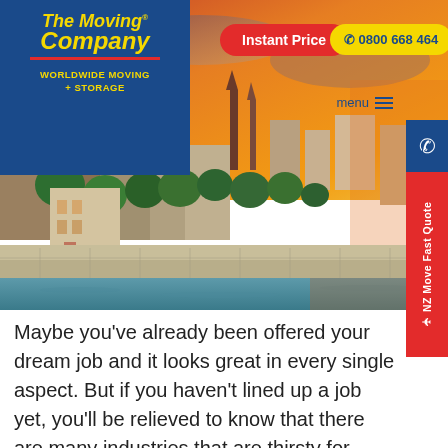[Figure (photo): A scenic European riverside cityscape at sunset, featuring historic buildings, a cathedral with red spires, lush green trees, a stone river wall, and a warm orange sky reflected on the water.]
[Figure (logo): The Moving Company logo: yellow script text on dark blue background with red underline. Text reads 'The Moving Company' with 'WORLDWIDE MOVING + STORAGE' below in yellow bold capitals.]
Instant Price
📞 0800 668 464
menu
NZ Move Fast Quote
Maybe you've already been offered your dream job and it looks great in every single aspect. But if you haven't lined up a job yet, you'll be relieved to know that there are many industries that are thirsty for more workers. It's